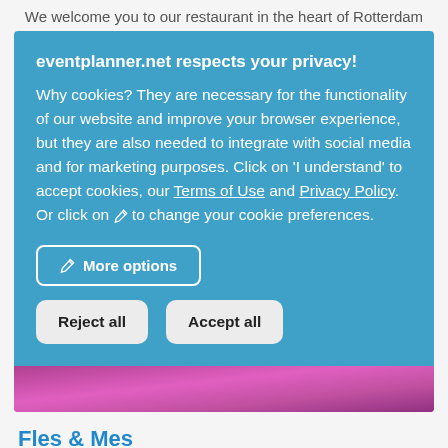We welcome you to our restaurant in the heart of Rotterdam
eventplanner.net respects your privacy!
Why cookies? They are necessary for the functionality of our website and improve your browser experience, but they are also needed to integrate with social media and for marketing purposes. Click on 'I understand' to accept cookies, our Terms of Use and Privacy Policy. Or click on ✏ to change your cookie preferences.
✏ More options
Reject all
Accept all
[Figure (photo): Colorful purple/magenta floral photo strip]
Fles & Mes
★★★★★ | Write review | 📍 Dordrecht (13.7 km)